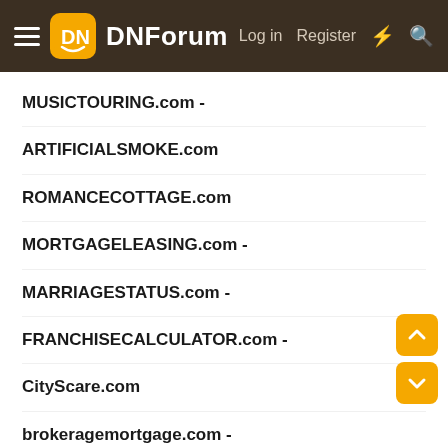DNForum — Log in  Register
MUSICTOURING.com -
ARTIFICIALSMOKE.com
ROMANCECOTTAGE.com
MORTGAGELEASING.com -
MARRIAGESTATUS.com -
FRANCHISECALCULATOR.com -
CityScare.com
brokeragemortgage.com -
magnificienthomes.com -